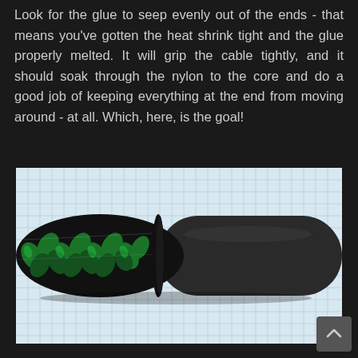Look for the glue to seep evenly out of the ends - that means you've gotten the heat shrink tight and the glue properly melted. It will grip the cable tightly, and it should soak through the nylon to the core and do a good job of keeping everything at the end from moving around - at all. Which, here, is the goal!
[Figure (photo): Close-up photo of a paracord cable end with black and green braided nylon sleeve transitioning into a black heat shrink tubing, placed on a grid/graph paper background.]